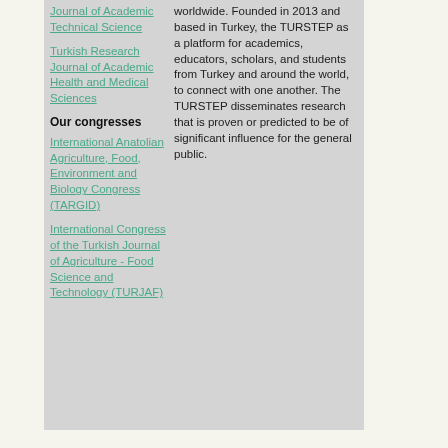Journal of Academic Technical Science
Turkish Research Journal of Academic Health and Medical Sciences
Our congresses
International Anatolian Agriculture, Food, Environment and Biology Congress (TARGID)
International Congress of the Turkish Journal of Agriculture - Food Science and Technology (TURJAF)
worldwide. Founded in 2013 and based in Turkey, the TURSTEP as a platform for academics, educators, scholars, and students from Turkey and around the world, to connect with one another. The TURSTEP disseminates research that is proven or predicted to be of significant influence for the general public.